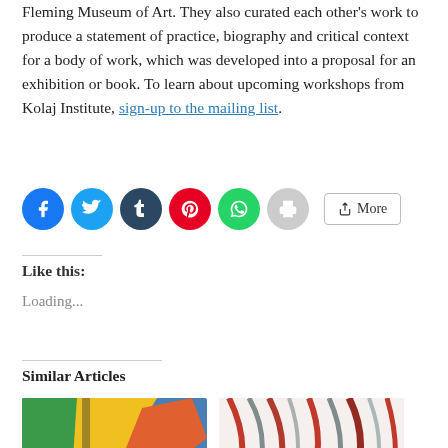Fleming Museum of Art. They also curated each other's work to produce a statement of practice, biography and critical context for a body of work, which was developed into a proposal for an exhibition or book. To learn about upcoming workshops from Kolaj Institute, sign-up to the mailing list.
[Figure (other): Social share buttons row: Facebook (blue circle), Twitter (light blue circle), Tumblr (dark blue circle), Pinterest (red circle), WhatsApp (green circle), Print (gray circle), More button (outlined)]
Like this:
Loading...
Similar Articles
[Figure (photo): Two thumbnail images side by side: left shows colorful abstract collage art (green, yellow, blue shapes), right shows a portrait/illustration with flowing hair in reds and grays.]